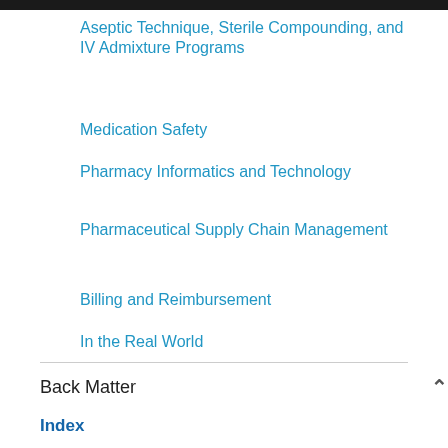Aseptic Technique, Sterile Compounding, and IV Admixture Programs
Medication Safety
Pharmacy Informatics and Technology
Pharmaceutical Supply Chain Management
Billing and Reimbursement
In the Real World
Back Matter
Index